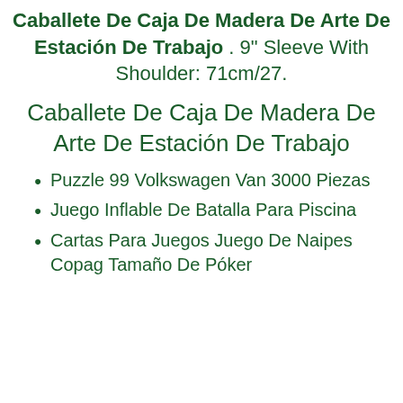Caballete De Caja De Madera De Arte De Estación De Trabajo . 9" Sleeve With Shoulder: 71cm/27.
Caballete De Caja De Madera De Arte De Estación De Trabajo
Puzzle 99 Volkswagen Van 3000 Piezas
Juego Inflable De Batalla Para Piscina
Cartas Para Juegos Juego De Naipes Copag Tamaño De Póker